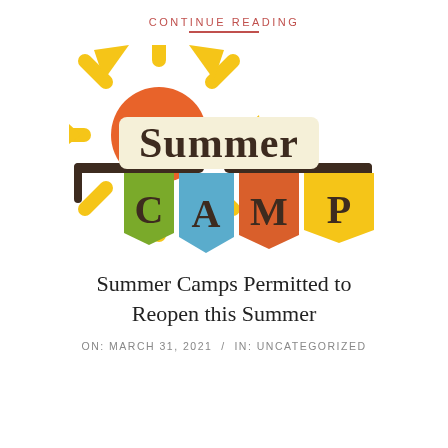CONTINUE READING
[Figure (illustration): Summer Camp colorful logo illustration with sun rays, orange sun, and colorful banner flags spelling out SUMMER CAMP in brown vintage lettering on green, blue, orange and yellow pennant banners, with tree branches across the middle.]
Summer Camps Permitted to Reopen this Summer
ON: MARCH 31, 2021 / IN: UNCATEGORIZED